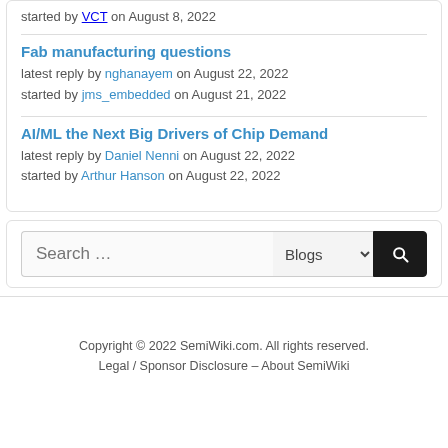started by VCT on August 8, 2022
Fab manufacturing questions
latest reply by nghanayem on August 22, 2022
started by jms_embedded on August 21, 2022
AI/ML the Next Big Drivers of Chip Demand
latest reply by Daniel Nenni on August 22, 2022
started by Arthur Hanson on August 22, 2022
Search ...
Copyright © 2022 SemiWiki.com. All rights reserved.
Legal / Sponsor Disclosure – About SemiWiki